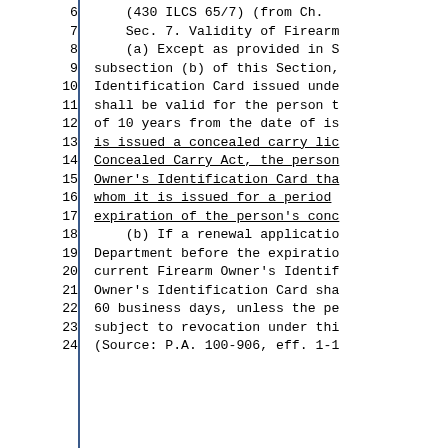6    (430 ILCS 65/7) (from Ch.
7    Sec. 7. Validity of Firearm
8    (a) Except as provided in S
9    subsection (b) of this Section,
10   Identification Card issued unde
11   shall be valid for the person t
12   of 10 years from the date of is
13   is issued a concealed carry lic
14   Concealed Carry Act, the person
15   Owner's Identification Card tha
16   whom it is issued for a period
17   expiration of the person's conc
18   (b) If a renewal applicatio
19   Department before the expiratio
20   current Firearm Owner's Identif
21   Owner's Identification Card sha
22   60 business days, unless the pe
23   subject to revocation under thi
24   (Source: P.A. 100-906, eff. 1-1